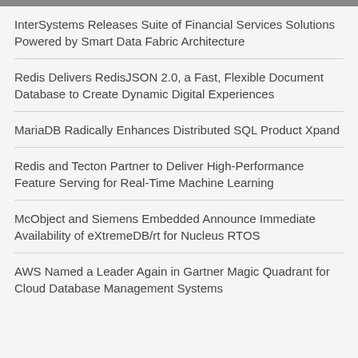InterSystems Releases Suite of Financial Services Solutions Powered by Smart Data Fabric Architecture
Redis Delivers RedisJSON 2.0, a Fast, Flexible Document Database to Create Dynamic Digital Experiences
MariaDB Radically Enhances Distributed SQL Product Xpand
Redis and Tecton Partner to Deliver High-Performance Feature Serving for Real-Time Machine Learning
McObject and Siemens Embedded Announce Immediate Availability of eXtremeDB/rt for Nucleus RTOS
AWS Named a Leader Again in Gartner Magic Quadrant for Cloud Database Management Systems